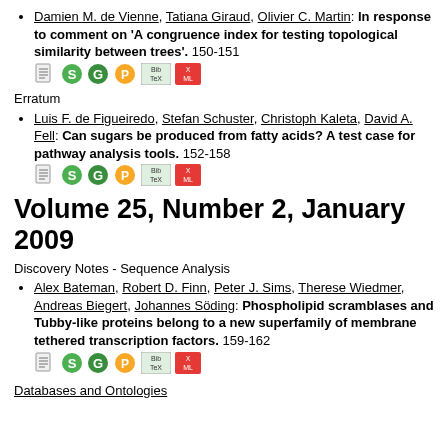Damien M. de Vienne, Tatiana Giraud, Olivier C. Martin: In response to comment on 'A congruence index for testing topological similarity between trees'. 150-151
Erratum
Luis F. de Figueiredo, Stefan Schuster, Christoph Kaleta, David A. Fell: Can sugars be produced from fatty acids? A test case for pathway analysis tools. 152-158
Volume 25, Number 2, January 2009
Discovery Notes - Sequence Analysis
Alex Bateman, Robert D. Finn, Peter J. Sims, Therese Wiedmer, Andreas Biegert, Johannes Söding: Phospholipid scramblases and Tubby-like proteins belong to a new superfamily of membrane tethered transcription factors. 159-162
Databases and Ontologies